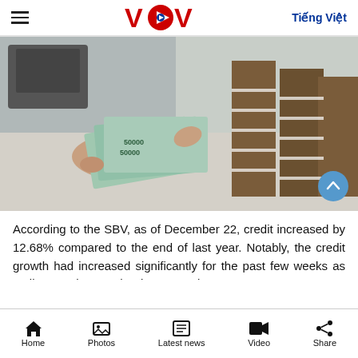VOV | Tiếng Việt
[Figure (photo): Person holding stacks of Vietnamese dong banknotes (50000 denomination), with bundled stacks of cash in the background on a table, photographed in what appears to be a bank teller workspace.]
According to the SBV, as of December 22, credit increased by 12.68% compared to the end of last year. Notably, the credit growth had increased significantly for the past few weeks as until November 25, the rise was only 10.1%.
Home  Photos  Latest news  Video  Share